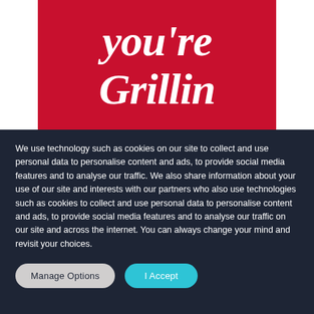[Figure (illustration): Red banner with white cursive/script text reading 'you're Grillin' in a retro style]
We use technology such as cookies on our site to collect and use personal data to personalise content and ads, to provide social media features and to analyse our traffic. We also share information about your use of our site and interests with our partners who also use technologies such as cookies to collect and use personal data to personalise content and ads, to provide social media features and to analyse our traffic on our site and across the internet. You can always change your mind and revisit your choices.
Manage Options
I Accept